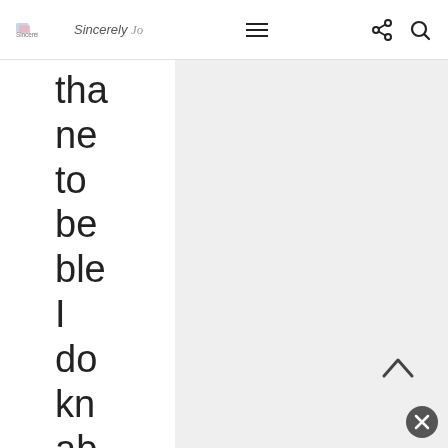Sincerely [logo] | navigation bar with hamburger menu, share icon, search icon
tha ne to be ble I do kn ab yo bu ev tim I us th